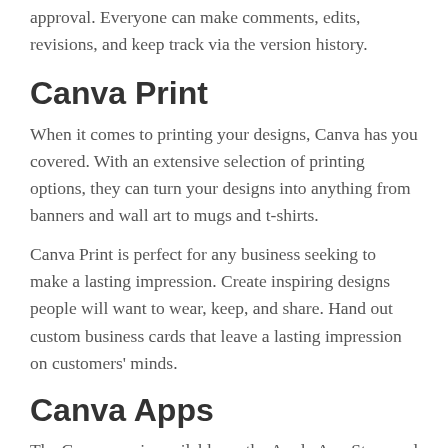approval. Everyone can make comments, edits, revisions, and keep track via the version history.
Canva Print
When it comes to printing your designs, Canva has you covered. With an extensive selection of printing options, they can turn your designs into anything from banners and wall art to mugs and t-shirts.
Canva Print is perfect for any business seeking to make a lasting impression. Create inspiring designs people will want to wear, keep, and share. Hand out custom business cards that leave a lasting impression on customers' minds.
Canva Apps
The Canva app is available on the Apple App Store and Google Play. The Canva app has earned a 4.9 out of five star rating from over 946.3K Apple